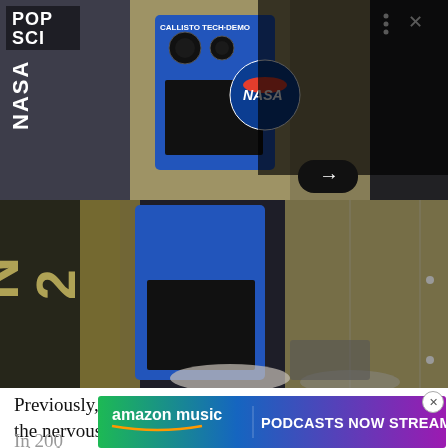[Figure (photo): Photo of NASA CALLISTO TECH-DEMO device in spacecraft interior — blue panel with NASA logo, worm logo visible, metallic background. POP SCI logo in top left. Headline overlay on right: 'NASA's uncrewed Orion spacecraft will get a hand from a Star Trek-inspired comms system'. Three-dot menu and X close icon visible. Arrow navigation button at bottom.]
[Figure (photo): Larger cropped view of the same NASA CALLISTO device in the spacecraft interior, blue panel prominent, gold/metallic background, cables and equipment visible at bottom.]
Previously, scientists surgically connected electrodes to the nervous system, but they seemed to harm the body's tissues, making the implant fail within months.
In 200
stimul
[Figure (infographic): Amazon Music advertisement banner with gradient background (green to blue to purple). Shows 'amazon music' logo with smile icon and text 'PODCASTS NOW STREAMING' in bold white letters.]